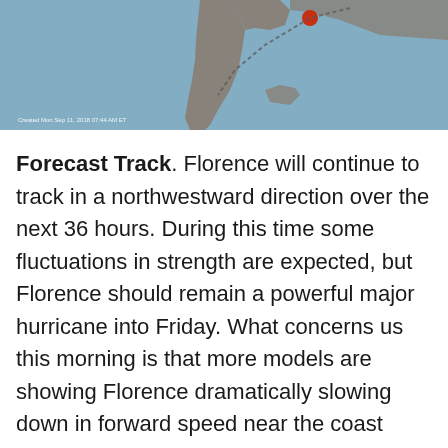[Figure (map): Meteorological map showing hurricane Florence track near the southeastern United States coastline with storm path indicators. Map has a blue-gray background representing ocean, with land masses visible.]
Forecast Track. Florence will continue to track in a northwestward direction over the next 36 hours. During this time some fluctuations in strength are expected, but Florence should remain a powerful major hurricane into Friday. What concerns us this morning is that more models are showing Florence dramatically slowing down in forward speed near the coast Friday, with slow movement to the south before finally making landfall this weekend across the Carolinas or Georgia. This would be the worst-case scenario for areas along the coast, prolonging the damaging wind threat across parts of the region as well as life-threatening storm surge and heavy rain/flash